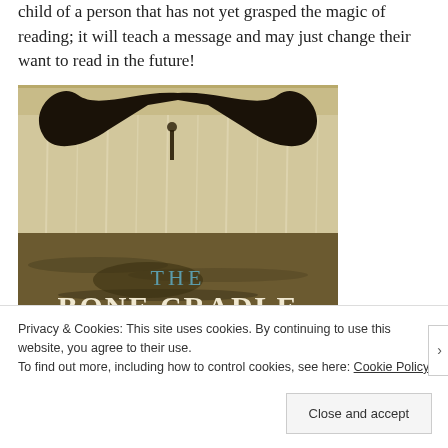child of a person that has not yet grasped the magic of reading; it will teach a message and may just change their want to read in the future!
[Figure (photo): Book cover of 'The Bone Cradle' showing a whale tail breaching the water against a sepia-toned background, with the title text 'THE BONE CRADLE' in large serif font]
Privacy & Cookies: This site uses cookies. By continuing to use this website, you agree to their use.
To find out more, including how to control cookies, see here: Cookie Policy